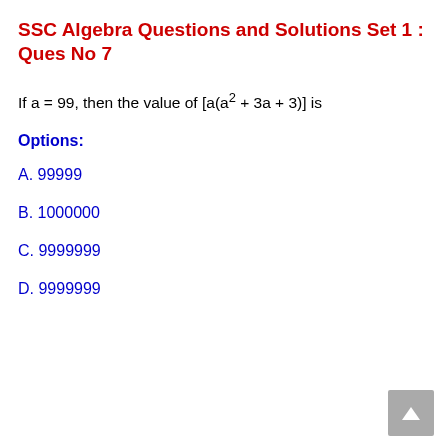SSC Algebra Questions and Solutions Set 1 : Ques No 7
If a = 99, then the value of [a(a² + 3a + 3)] is
Options:
A. 99999
B. 1000000
C. 9999999
D. 9999999